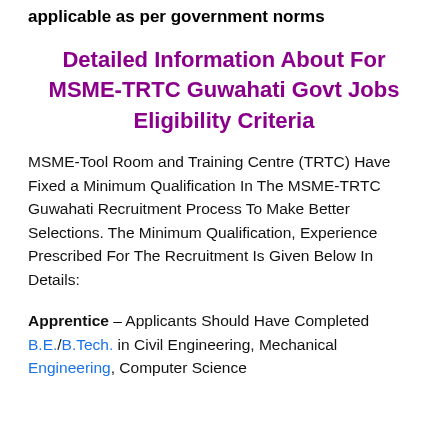applicable as per government norms
Detailed Information About For MSME-TRTC Guwahati Govt Jobs Eligibility Criteria
MSME-Tool Room and Training Centre (TRTC) Have Fixed a Minimum Qualification In The MSME-TRTC Guwahati Recruitment Process To Make Better Selections. The Minimum Qualification, Experience Prescribed For The Recruitment Is Given Below In Details:
Apprentice – Applicants Should Have Completed B.E./B.Tech. in Civil Engineering, Mechanical Engineering, Computer Science